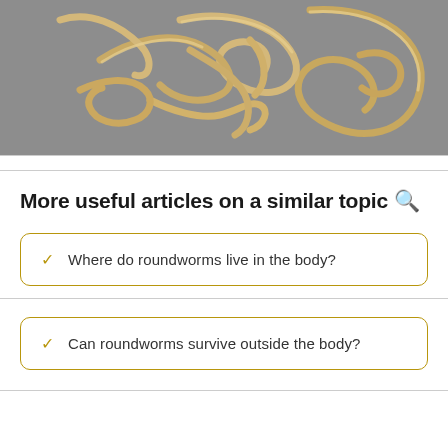[Figure (photo): Photo of tangled roundworms (pale yellow/cream colored nematode worms) on a gray background]
More useful articles on a similar topic 🔍
✓ Where do roundworms live in the body?
✓ Can roundworms survive outside the body?